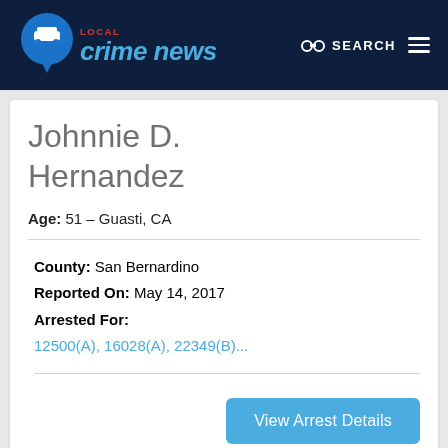LOCAL crime news — SEARCH
Johnnie D. Hernandez
Age: 51 – Guasti, CA
County: San Bernardino
Reported On: May 14, 2017
Arrested For:
12500(A), 16028(A), 22349(B)...
View Arrest Details